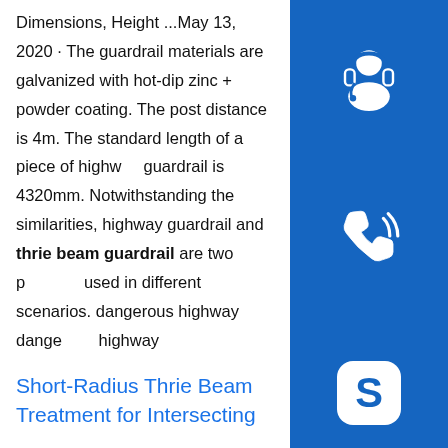Dimensions, Height ...May 13, 2020 · The guardrail materials are galvanized with hot-dip zinc + powder coating. The post distance is 4m. The standard length of a piece of highway guardrail is 4320mm. Notwithstanding the similarities, highway guardrail and thrie beam guardrail are two products used in different scenarios. dangerous highway dangerous highway
[Figure (illustration): Three blue square buttons on right sidebar: customer service headset icon, phone/call icon, Skype icon]
Short-Radius Thrie Beam Treatment for Intersecting …
thrie-beam guardrail treatment suitable for use by TxDOT that meets nationally recognized safety standards. The new treatment consists of a single 10-ga. thrie-beam rail mounted at a height of 787 mm (31 in.) and supported on weakened, round wood posts. The system extends approximately 9.75 m (32 ft) from thesp.info Highway Safety Products | Traffic